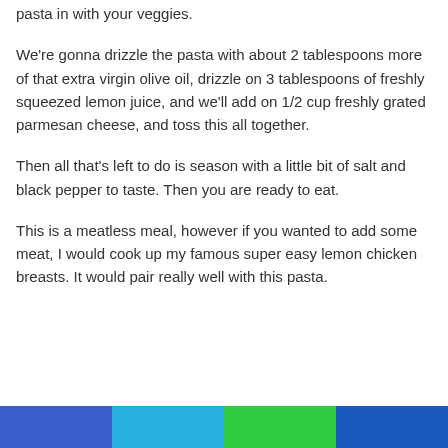pasta in with your veggies.
We're gonna drizzle the pasta with about 2 tablespoons more of that extra virgin olive oil, drizzle on 3 tablespoons of freshly squeezed lemon juice, and we'll add on 1/2 cup freshly grated parmesan cheese, and toss this all together.
Then all that's left to do is season with a little bit of salt and black pepper to taste. Then you are ready to eat.
This is a meatless meal, however if you wanted to add some meat, I would cook up my famous super easy lemon chicken breasts. It would pair really well with this pasta.
[Figure (other): Four colored horizontal bar segments at the bottom of the page: blue, light blue, green, dark blue]